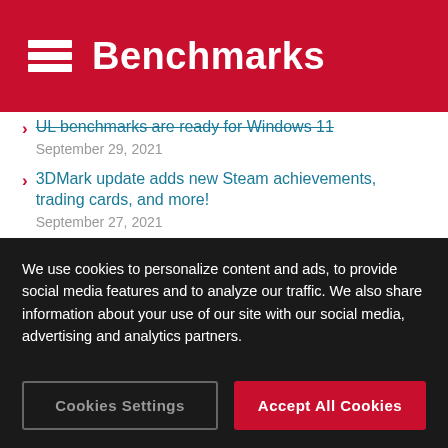Benchmarks
UL benchmarks are ready for Windows 11
September 29, 2021
3DMark update adds new Steam achievements, trading cards, and more!
September 27, 2021
Reduce the risk of data loss with Testdriver Storage Health Test
August 26, 2021
Experience DirectX 12 Ultimate with 3DMark...
We use cookies to personalize content and ads, to provide social media features and to analyze our traffic. We also share information about your use of our site with our social media, advertising and analytics partners.
Cookies Settings | Accept All Cookies